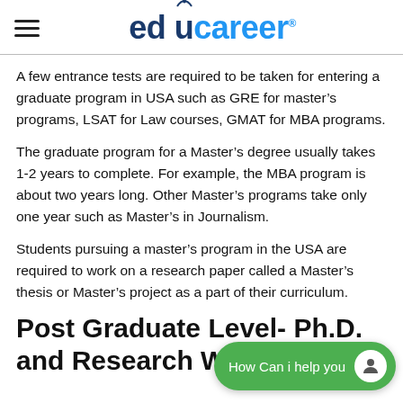educareer
A few entrance tests are required to be taken for entering a graduate program in USA such as GRE for master’s programs, LSAT for Law courses, GMAT for MBA programs.
The graduate program for a Master’s degree usually takes 1-2 years to complete. For example, the MBA program is about two years long. Other Master’s programs take only one year such as Master’s in Journalism.
Students pursuing a master’s program in the USA are required to work on a research paper called a Master’s thesis or Master’s project as a part of their curriculum.
Post Graduate Level- Ph.D. and Research Work